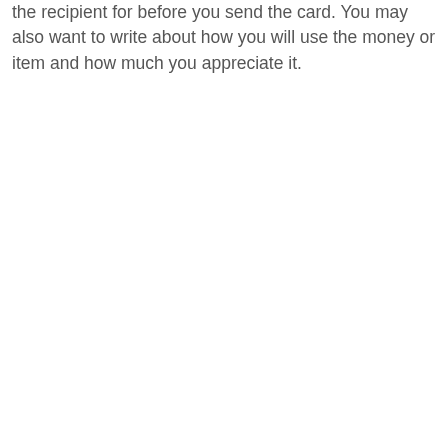the recipient for before you send the card. You may also want to write about how you will use the money or item and how much you appreciate it.